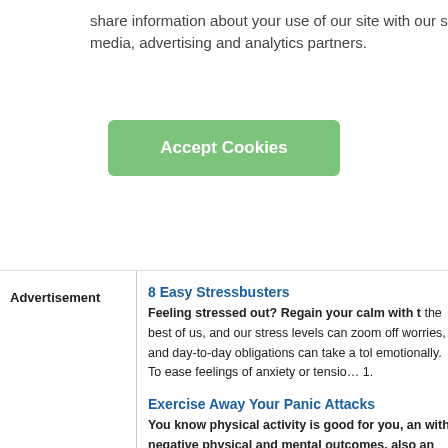share information about your use of our site with our social media, advertising and analytics partners.
Accept Cookies
Advertisement
8 Easy Stressbusters
Feeling stressed out? Regain your calm with t… the best of us, and our stress levels can zoom off… worries, and day-to-day obligations can take a tol… emotionally. To ease feelings of anxiety or tension… 1.
Exercise Away Your Panic Attacks
You know physical activity is good for you, an… with negative physical and mental outcomes. … also an effective way to stop a panic attack in… good for you, and that lack of exercise is associat… outcomes. However, did you know exercise is als… in its tracks? Studies with large samples of partici… association between exercise and lower emotional… people who suffer from anxiety and extreme pani…
5 Myths about Panic Disorders
Panic attacks are frightening and disruptive e… additional stress of worrying about whether c… disorders are true. Panic attacks are frightening … the additional stress of worrying about whether c…